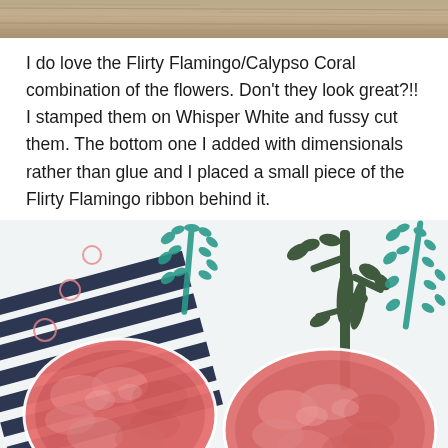[Figure (photo): Top strip of a wooden surface / table texture, cropped]
I do love the Flirty Flamingo/Calypso Coral combination of the flowers. Don't they look great?!! I stamped them on Whisper White and fussy cut them. The bottom one I added with dimensionals rather than glue and I placed a small piece of the Flirty Flamingo ribbon behind it.
[Figure (photo): Close-up photo of a handmade stamped card featuring pink/coral fussy-cut peony flowers in the foreground, dark green botanical branch stamps, teal leaf branch stamps, small pink circular stamps, and navy blue diagonal stripes on a white background.]